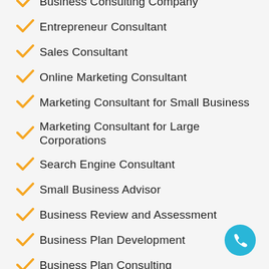Business Consulting Company
Entrepreneur Consultant
Sales Consultant
Online Marketing Consultant
Marketing Consultant for Small Business
Marketing Consultant for Large Corporations
Search Engine Consultant
Small Business Advisor
Business Review and Assessment
Business Plan Development
Business Plan Consulting
Business Process Improvement